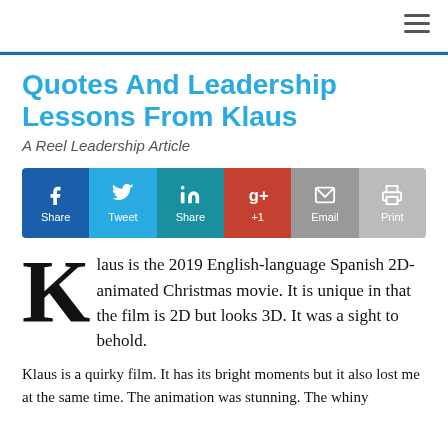Quotes And Leadership Lessons From Klaus
A Reel Leadership Article
[Figure (other): Social sharing bar with Facebook Share, Twitter Tweet, LinkedIn Share, Google+1, Email, and Print buttons]
Klaus is the 2019 English-language Spanish 2D-animated Christmas movie. It is unique in that the film is 2D but looks 3D. It was a sight to behold.
Klaus is a quirky film. It has its bright moments but it also lost me at the same time. The animation was stunning. The whiny